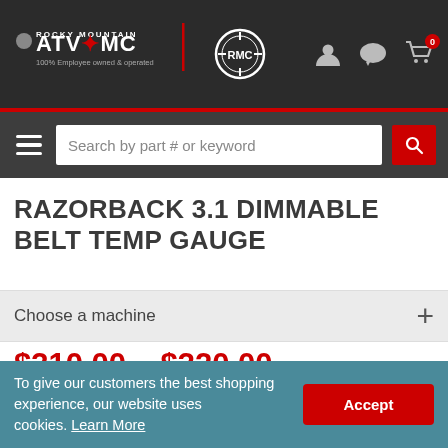Rocky Mountain ATV MC — website header with logo, RMC emblem, user icon, chat icon, cart with 0 items
Search by part # or keyword
RAZORBACK 3.1 DIMMABLE BELT TEMP GAUGE
Choose a machine
$310.00 – $320.00
Part# 202359
★★★★★ 6 Reviews | 5 Questions, 15 Answers
To give our customers the best shopping experience, our website uses cookies. Learn More